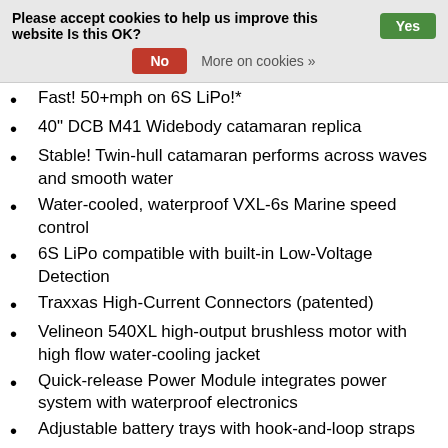Please accept cookies to help us improve this website Is this OK?  Yes  No  More on cookies »
Fast! 50+mph on 6S LiPo!*
40" DCB M41 Widebody catamaran replica
Stable! Twin-hull catamaran performs across waves and smooth water
Water-cooled, waterproof VXL-6s Marine speed control
6S LiPo compatible with built-in Low-Voltage Detection
Traxxas High-Current Connectors (patented)
Velineon 540XL high-output brushless motor with high flow water-cooling jacket
Quick-release Power Module integrates power system with waterproof electronics
Adjustable battery trays with hook-and-loop straps
Blue-anodized aluminum rudder support, rudder, and drive strut
Stainless steel trim tabs, and hardware
TQi 2.4GHz radio system and 5-channel receiver